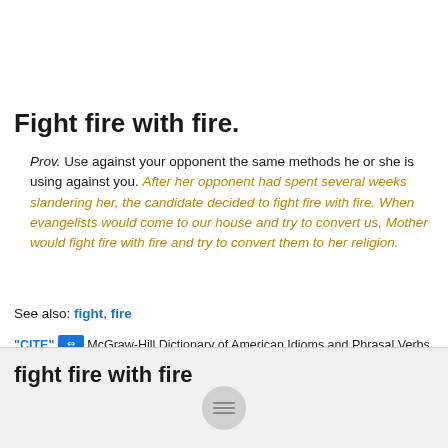Fight fire with fire.
Prov. Use against your opponent the same methods he or she is using against you. After her opponent had spent several weeks slandering her, the candidate decided to fight fire with fire. When evangelists would come to our house and try to convert us, Mother would fight fire with fire and try to convert them to her religion.
See also: fight, fire
“CITE” ⇔ McGraw-Hill Dictionary of American Idioms and Phrasal Verbs. © 2002 by The McGraw-Hill Companies, Inc.
fight fire with fire